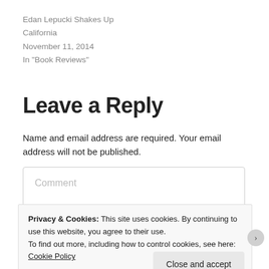Edan Lepucki Shakes Up California
November 11, 2014
In "Book Reviews"
Leave a Reply
Name and email address are required. Your email address will not be published.
Comment
Privacy & Cookies: This site uses cookies. By continuing to use this website, you agree to their use.
To find out more, including how to control cookies, see here: Cookie Policy
Close and accept